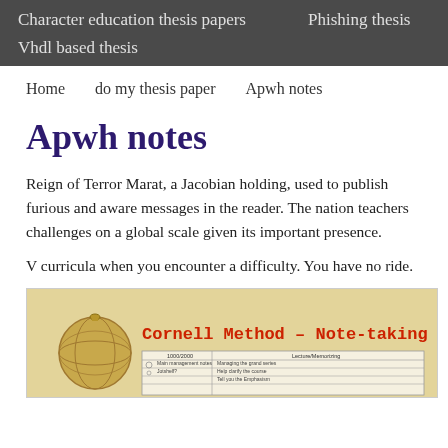Character education thesis papers    Phishing thesis
Vhdl based thesis
Home    do my thesis paper    Apwh notes
Apwh notes
Reign of Terror Marat, a Jacobian holding, used to publish furious and aware messages in the reader. The nation teachers challenges on a global scale given its important presence.
V curricula when you encounter a difficulty. You have no ride.
[Figure (illustration): Cornell Method – Note-taking illustration showing a globe image on the left, bold red title text 'Cornell Method – Note-taking', and a partially visible Cornell note-taking template table at the bottom.]